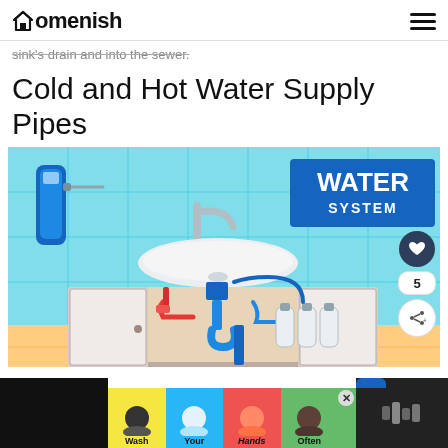Homenish
sink's drain and into the sewer.
Cold and Hot Water Supply Pipes
[Figure (illustration): Illustrated infographic of a bathroom water system showing a sink with open cabinet doors revealing plumbing: blue water filter on the left wall, faucet on top, pipes including red hot and blue cold water supply lines, P-trap drain pipe, and reverse osmosis filter unit with white cylinders below. Blue background with tiled wall. Top right shows 'WATER SYSTEM' in white text on blue banner.]
[Figure (infographic): Advertisement banner at bottom showing handwashing illustrations: colorful hand icons on colored backgrounds (yellow, blue, red, green) with text 'Wash Your Hands Often'. Close button X visible. Left and right sides are black/dark panels.]